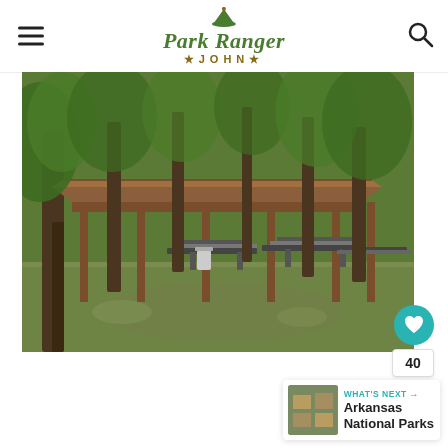Park Ranger John
[Figure (photo): Outdoor park pavilion with wooden roof structure, picnic tables underneath, surrounded by tall trees with dappled sunlight on a grassy area.]
40
WHAT'S NEXT → Arkansas National Parks